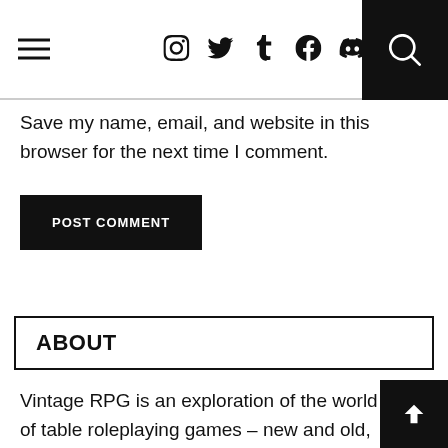[hamburger menu] [social icons: Instagram, Twitter, Tumblr, Facebook, Discord] [search]
Save my name, email, and website in this browser for the next time I comment.
POST COMMENT
ABOUT
Vintage RPG is an exploration of the world of table roleplaying games – new and old, familiar and